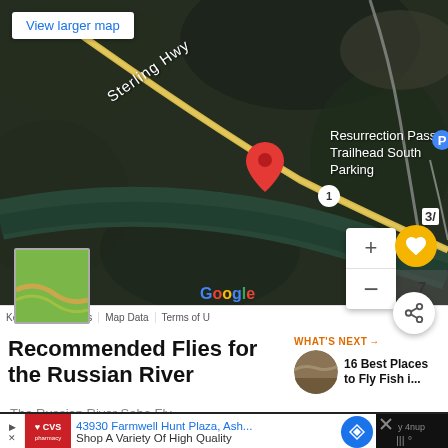[Figure (map): Google Maps satellite view showing Sterling Hwy, Resurrection Pass Trailhead South Parking, a red map pin marker, route badge '1', mini map inset, Google logo, zoom controls, save and share buttons, and map attribution footer with 'Keyboard shortcuts', 'Map Data', 'Terms of U']
Recommended Flies for the Russian River
[Figure (photo): Circular thumbnail photo of a rocky river scene, used as 'What's Next' preview image]
WHAT'S NEXT → 16 Best Places to Fly Fish i...
The Russian River Soho Fly...
[Figure (screenshot): Advertisement bar: CVS Pharmacy logo, '43930 Farmwell Hunt Plaza, Ash...', 'Shop A Variety Of High Quality', navigation icon, and a dark right panel with 'y 4nup' text and rain/weather icons]